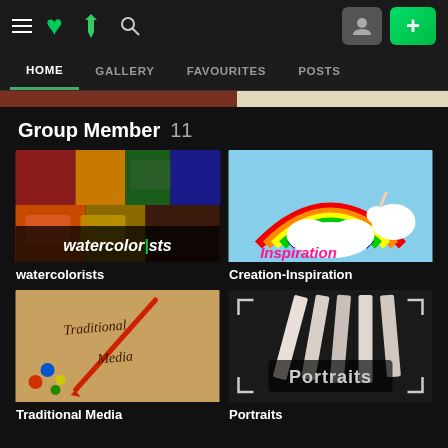DeviantArt navigation bar with hamburger menu, DA logo, search icon, user avatar button, and plus button
HOME  GALLERY  FAVOURITES  POSTS
[Figure (screenshot): Horizontal banner strip with dark red left section and beige right section]
Group Member  11
[Figure (photo): Watercolorists group thumbnail showing colorful paint boxes with text 'watercolorists']
watercolorists
[Figure (photo): Creation-Inspiration group thumbnail showing rainbow and unicorn with text 'Inspiration']
Creation-Inspiration
[Figure (photo): Traditional Media group thumbnail showing cursive text on wood background 'Traditional Media']
Traditional Media
[Figure (photo): Portraits group thumbnail showing white colored pencils with text 'Portraits']
Portraits